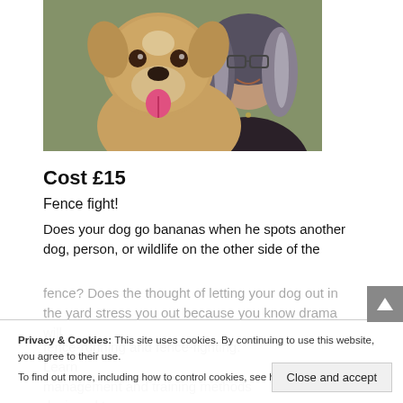[Figure (photo): Photo of a fluffy golden/tan dog with tongue out next to a smiling woman with silver-streaked dark hair and glasses, outdoors]
Cost £15
Fence fight!
Does your dog go bananas when he spots another dog, person, or wildlife on the other side of the fence? Does the thought of letting your dog out in the yard stress you out because you know drama will ensue? fence-running and fence-fighting. Learn management and training methods designed to resolve this problem.
Privacy & Cookies: This site uses cookies. By continuing to use this website, you agree to their use.
To find out more, including how to control cookies, see here: Cookie Policy
Close and accept